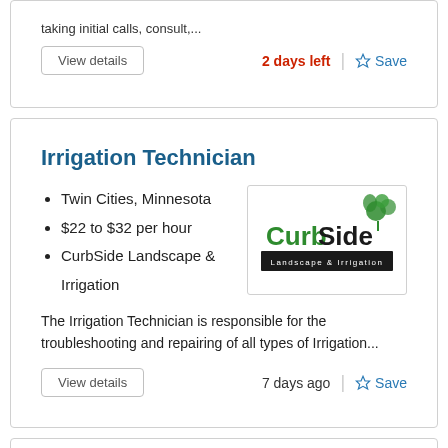taking initial calls, consult,...
View details
2 days left
Save
Irrigation Technician
Twin Cities, Minnesota
$22 to $32 per hour
CurbSide Landscape & Irrigation
[Figure (logo): CurbSide Landscape & Irrigation company logo with green and black text]
The Irrigation Technician is responsible for the troubleshooting and repairing of all types of Irrigation...
View details
7 days ago
Save
Landscape Crew Leader